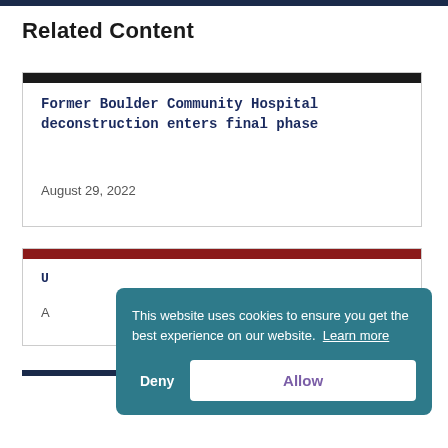Related Content
Former Boulder Community Hospital deconstruction enters final phase
August 29, 2022
U...
A...
This website uses cookies to ensure you get the best experience on our website. Learn more
Deny
Allow